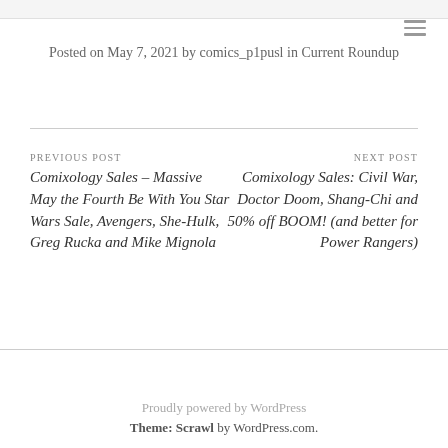Posted on May 7, 2021 by comics_p1pusl in Current Roundup
PREVIOUS POST
Comixology Sales – Massive May the Fourth Be With You Star Wars Sale, Avengers, She-Hulk, Greg Rucka and Mike Mignola
NEXT POST
Comixology Sales: Civil War, Doctor Doom, Shang-Chi and 50% off BOOM! (and better for Power Rangers)
Proudly powered by WordPress
Theme: Scrawl by WordPress.com.